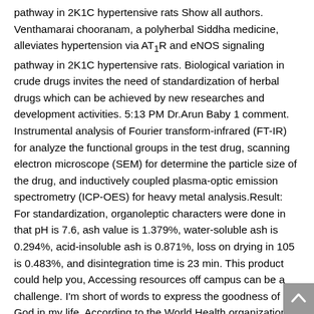pathway in 2K1C hypertensive rats Show all authors. Venthamarai chooranam, a polyherbal Siddha medicine, alleviates hypertension via AT₁R and eNOS signaling pathway in 2K1C hypertensive rats. Biological variation in crude drugs invites the need of standardization of herbal drugs which can be achieved by new researches and development activities. 5:13 PM Dr.Arun Baby 1 comment. Instrumental analysis of Fourier transform-infrared (FT-IR) for analyze the functional groups in the test drug, scanning electron microscope (SEM) for determine the particle size of the drug, and inductively coupled plasma-optic emission spectrometry (ICP-OES) for heavy metal analysis.Result: For standardization, organoleptic characters were done in that pH is 7.6, ash value is 1.379%, water-soluble ash is 0.294%, acid-insoluble ash is 0.871%, loss on drying in 105 is 0.483%, and disintegration time is 23 min. This product could help you, Accessing resources off campus can be a challenge. I'm short of words to express the goodness of God in my life. According to the World Health organization, the herbal medicines have been defined as those containing plant parts or plant. © 2018 International Journal of Nutrition, Pharmacology, Neurological Diseases Published by Medknow. All...